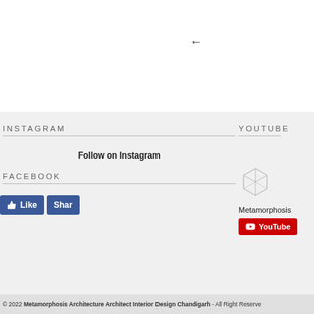[Figure (other): Left arrow navigation icon]
INSTAGRAM
Follow on Instagram
FACEBOOK
[Figure (other): Facebook Like and Share buttons]
YOUTUBE
[Figure (other): Metamorphosis YouTube channel widget with cube logo and YouTube subscribe button]
© 2022 Metamorphosis Architecture Architect Interior Design Chandigarh - All Right Reserve